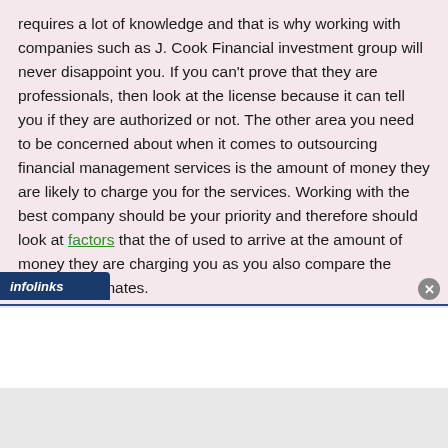requires a lot of knowledge and that is why working with companies such as J. Cook Financial investment group will never disappoint you. If you can't prove that they are professionals, then look at the license because it can tell you if they are authorized or not. The other area you need to be concerned about when it comes to outsourcing financial management services is the amount of money they are likely to charge you for the services. Working with the best company should be your priority and therefore should look at factors that the of used to arrive at the amount of money they are charging you as you also compare the different estimates.
infolinks